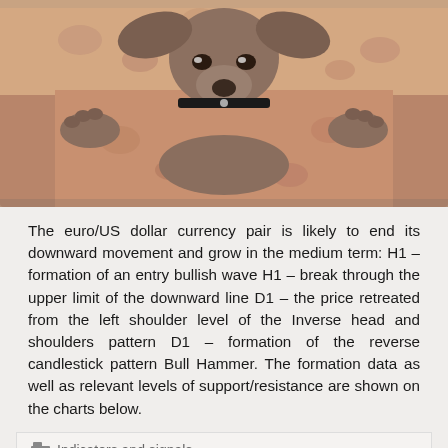[Figure (photo): A dog lying upside down on a floral patterned sofa/couch, photographed from above]
The euro/US dollar currency pair is likely to end its downward movement and grow in the medium term: H1 – formation of an entry bullish wave H1 – break through the upper limit of the downward line D1 – the price retreated from the left shoulder level of the Inverse head and shoulders pattern D1 – formation of the reverse candlestick pattern Bull Hammer. The formation data as well as relevant levels of support/resistance are shown on the charts below.
Indicators and signals
0
READ
EUR/NZD, H4, W1. 12.03.2017